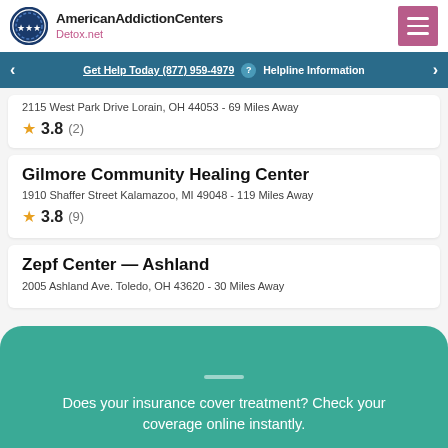American Addiction Centers Detox.net
Get Help Today (877) 959-4979 ? Helpline Information
2115 West Park Drive Lorain, OH 44053 - 69 Miles Away
★ 3.8 (2)
Gilmore Community Healing Center
1910 Shaffer Street Kalamazoo, MI 49048 - 119 Miles Away
★ 3.8 (9)
Zepf Center — Ashland
2005 Ashland Ave. Toledo, OH 43620 - 30 Miles Away
Does your insurance cover treatment? Check your coverage online instantly.